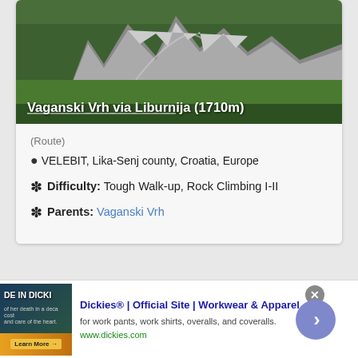[Figure (photo): Mountain landscape with rocky peaks and green valleys, Velebit mountains, Croatia]
Vaganski Vrh via Liburnija (1710m)
(Route)
VELEBIT, Lika-Senj county, Croatia, Europe
Difficulty: Tough Walk-up, Rock Climbing I-II
Parents: Vaganski Vrh
Score: 86.85%
[Figure (screenshot): Advertisement for Dickies workwear showing 'DE IN DICKI' text with outdoor background. Ad title: Dickies® | Official Site | Workwear & Apparel. Description: for work pants, work shirts, overalls, and coveralls. URL: www.dickies.com]